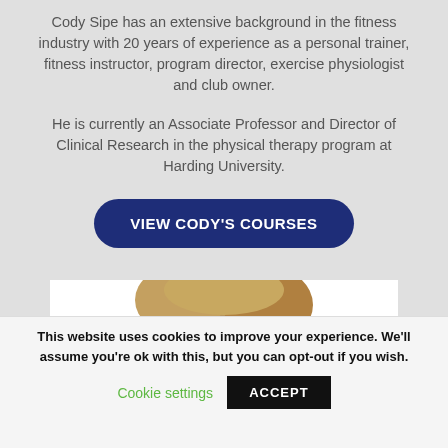Cody Sipe has an extensive background in the fitness industry with 20 years of experience as a personal trainer, fitness instructor, program director, exercise physiologist and club owner.
He is currently an Associate Professor and Director of Clinical Research in the physical therapy program at Harding University.
VIEW CODY'S COURSES
[Figure (photo): Partial top of a person's head with light brown/blonde hair, cut off at bottom of visible area]
This website uses cookies to improve your experience. We'll assume you're ok with this, but you can opt-out if you wish.
Cookie settings
ACCEPT